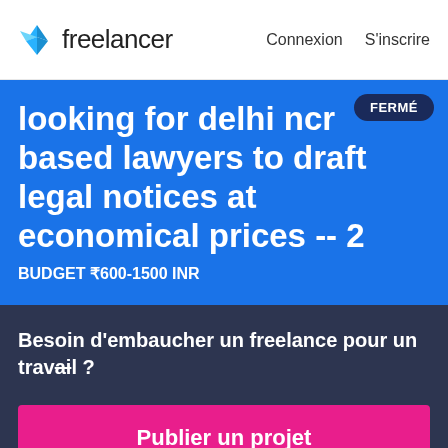[Figure (logo): Freelancer logo with blue origami bird icon and 'freelancer' wordmark]
Connexion   S'inscrire
FERMÉ
looking for delhi ncr based lawyers to draft legal notices at economical prices -- 2
BUDGET ₹600-1500 INR
Besoin d'embaucher un freelance pour un travail ?
Publier un projet